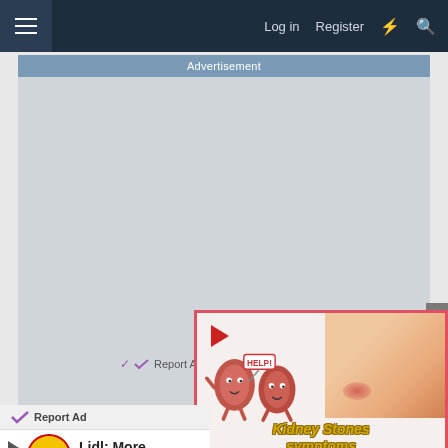≡  Log in  Register  ⚡  🔍
Advertisement
Report Ad
Report Ad
[Figure (screenshot): Kidney stones symptoms advertisement showing cartoon kidneys with HELP sign and person with back pain]
Lidl: More
Lidl